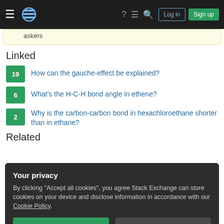Navigation bar with hamburger menu, Stack Exchange logo, icons, Log in and Sign up buttons
askers
Linked
19 — How can the gauche-effect be explained?
6 — What's the H-C-H bond angle in ethene?
2 — Why is the carbon-carbon bond in hexachloroethane shorter than in ethane?
Related
Your privacy
By clicking "Accept all cookies", you agree Stack Exchange can store cookies on your device and disclose information in accordance with our Cookie Policy.
Accept all cookies   Customize settings
3 — How to determine the reactivity of a set of compounds that may undergo nucleophilic substitution?